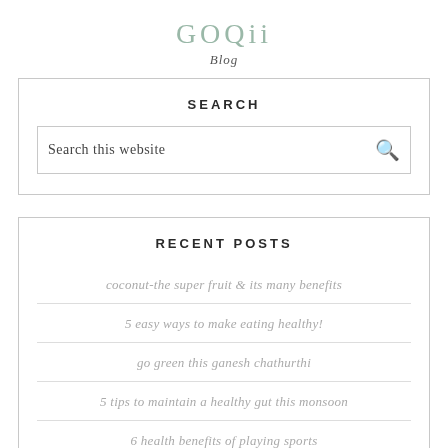GOQii
Blog
SEARCH
Search this website
RECENT POSTS
coconut-the super fruit & its many benefits
5 easy ways to make eating healthy!
go green this ganesh chathurthi
5 tips to maintain a healthy gut this monsoon
6 health benefits of playing sports